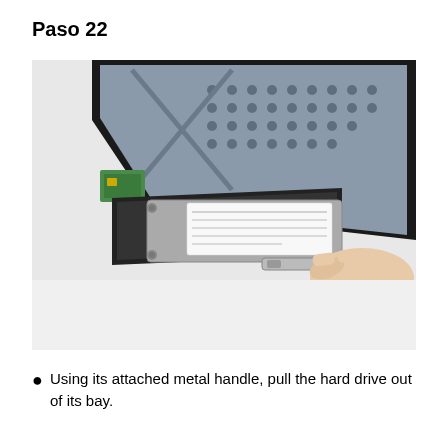Paso 22
[Figure (photo): A hand pulling a hard drive encased in a metal bracket out of a game console's bay. The console interior is visible, showing the chassis with ventilation holes, circuit boards, and drive bay.]
Using its attached metal handle, pull the hard drive out of its bay.